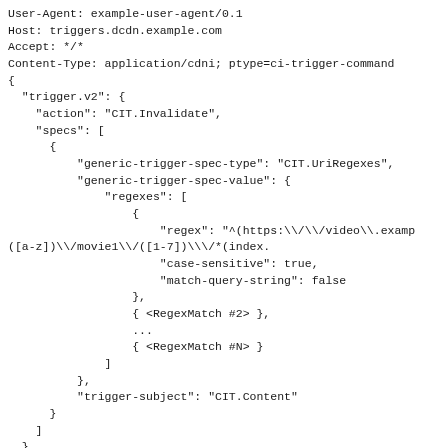User-Agent: example-user-agent/0.1
Host: triggers.dcdn.example.com
Accept: */*
Content-Type: application/cdni; ptype=ci-trigger-command
{
  "trigger.v2": {
    "action": "CIT.Invalidate",
    "specs": [
      {
          "generic-trigger-spec-type": "CIT.UriRegexes",
          "generic-trigger-spec-value": {
              "regexes": [
                  {
                      "regex": "^(https:\\/\\/video\\.examp
([a-z])\\/movie1\\/([1-7])\\/*(index.
                      "case-sensitive": true,
                      "match-query-string": false
                  },
                  { <RegexMatch #2> },
                  ...
                  { <RegexMatch #N> }
              ]
          },
          "trigger-subject": "CIT.Content"
      }
    ]
  },
  "cdn-path": [ "AS64496:0" ]
}